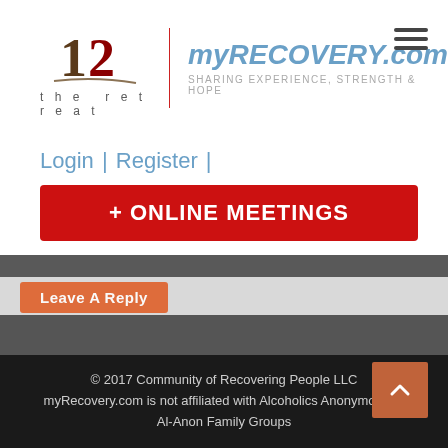[Figure (logo): The Retreat logo with stylized '12' and swoosh, and myRECOVERY.com logo with tagline 'SHARING EXPERIENCE, STRENGTH & HOPE']
Login | Register |
+ ONLINE MEETINGS
Leave A Reply
© 2017 Community of Recovering People LLC myRecovery.com is not affiliated with Alcoholics Anonymous or Al-Anon Family Groups